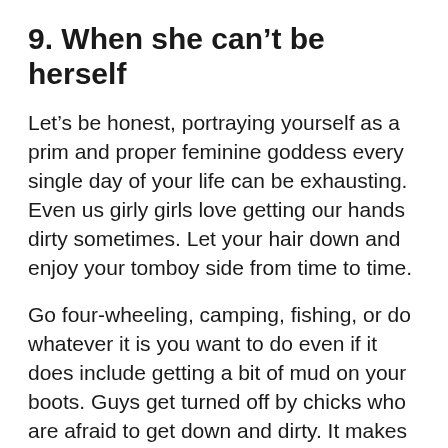9. When she can't be herself
Let's be honest, portraying yourself as a prim and proper feminine goddess every single day of your life can be exhausting. Even us girly girls love getting our hands dirty sometimes. Let your hair down and enjoy your tomboy side from time to time.
Go four-wheeling, camping, fishing, or do whatever it is you want to do even if it does include getting a bit of mud on your boots. Guys get turned off by chicks who are afraid to get down and dirty. It makes you come off as high maintenance.
10. When she takes forever